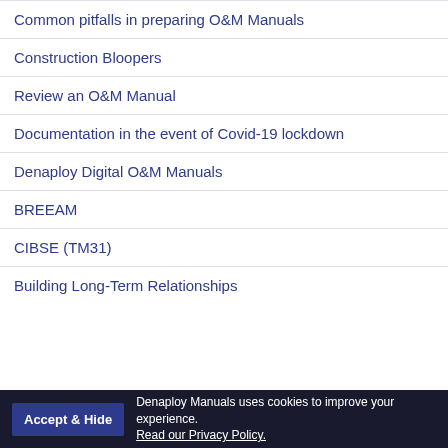Common pitfalls in preparing O&M Manuals
Construction Bloopers
Review an O&M Manual
Documentation in the event of Covid-19 lockdown
Denaploy Digital O&M Manuals
BREEAM
CIBSE (TM31)
Building Long-Term Relationships
Denaploy Manuals uses cookies to improve your experience. Read our Privacy Policy.